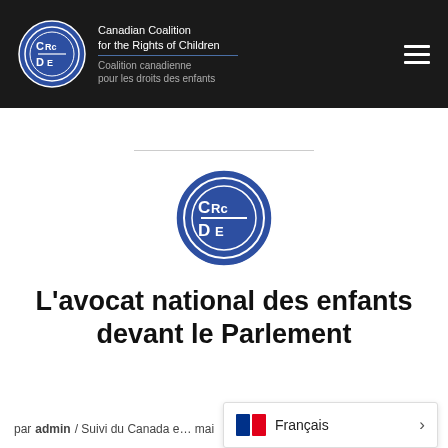[Figure (logo): Canadian Coalition for the Rights of Children (CCRC / CCDE) logo in header — circular blue emblem with CRc/DE letters, plus English and French organization names]
[Figure (logo): Canadian Coalition for the Rights of Children (CCRC / CCDE) circular blue logo centered on page]
L'avocat national des enfants devant le Parlement
par admin / Suivi du Canada e… mai
Français